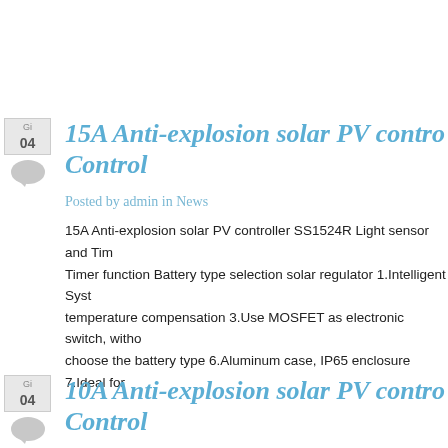15A Anti-explosion solar PV controller with Light Sensor and Timer Control
Posted by admin in News
15A Anti-explosion solar PV controller SS1524R Light sensor and Timer function Battery type selection solar regulator 1.Intelligent System temperature compensation 3.Use MOSFET as electronic switch, without choose the battery type 6.Aluminum case, IP65 enclosure 7.Ideal for
10A Anti-explosion solar PV controller with Light Sensor and Timer Control